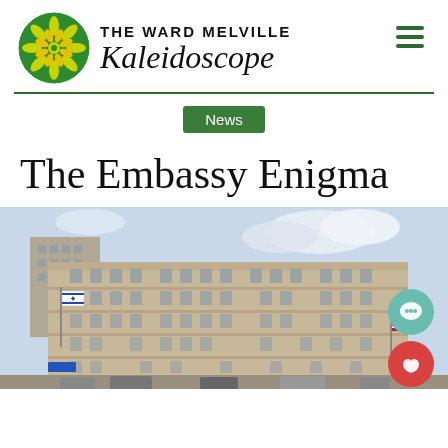THE WARD MELVILLE Kaleidoscope
News
The Embassy Enigma
[Figure (photo): Photograph of a large tan/beige multi-story embassy building with rows of windows, an Israeli flag visible on the left side, cars and street in the foreground, and a partly cloudy sky above.]